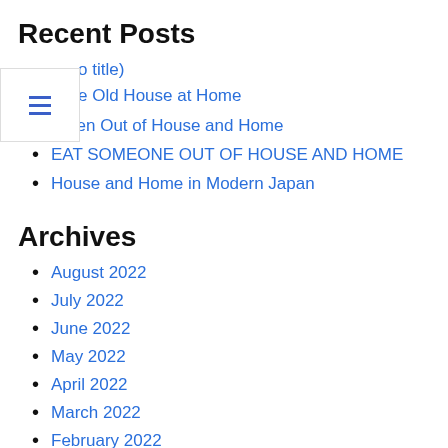Recent Posts
(no title)
e Old House at Home
Eaten Out of House and Home
EAT SOMEONE OUT OF HOUSE AND HOME
House and Home in Modern Japan
Archives
August 2022
July 2022
June 2022
May 2022
April 2022
March 2022
February 2022